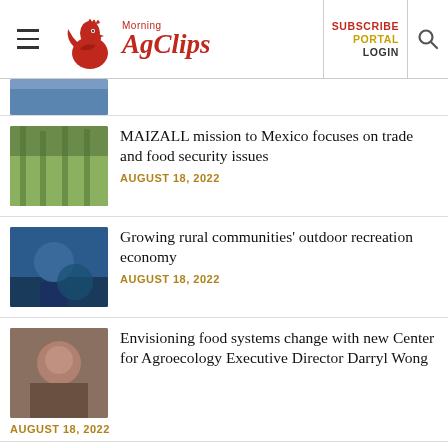Morning AgClips — SUBSCRIBE PORTAL LOGIN
[Figure (photo): Partially visible thumbnail image at top of news feed]
MAIZALL mission to Mexico focuses on trade and food security issues
AUGUST 18, 2022
Growing rural communities' outdoor recreation economy
AUGUST 18, 2022
Envisioning food systems change with new Center for Agroecology Executive Director Darryl Wong
AUGUST 18, 2022
LSP Farm Bill Platform: support farmers, rural communities, land
AUGUST 18, 2022